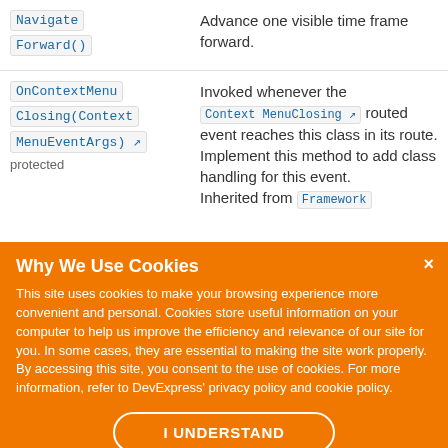| Method/Property | Description |
| --- | --- |
| NavigateForward() | Advance one visible time frame forward. |
| OnContextMenuClosing(ContextMenuEventArgs) protected | Invoked whenever the ContextMenuClosing routed event reaches this class in its route. Implement this method to add class handling for this event. Inherited from Framework |
Why We Use Cookies
This site uses cookies to make your browsing experience more convenient and personal. Cookies store useful information on your computer to help us improve the efficiency and relevance of our site for you. In some cases, they are essential to making the site work properly. By accessing this site, you consent to the use of cookies. For more information, refer to DevExpress' privacy policy and cookie policy.
I UNDERSTAND
Returns class specific